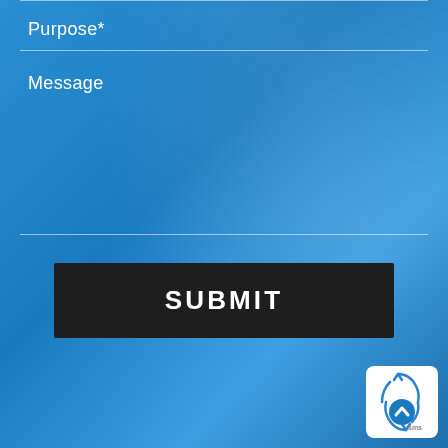Purpose*
Message
SUBMIT
[Figure (logo): Circular logo with blue arrows recycling symbol and blue circle with up-arrow chevron, white background, 'sms' text label]